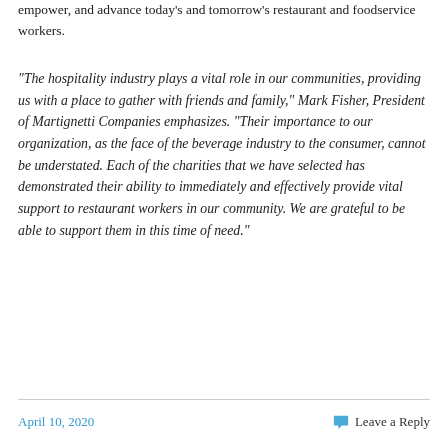empower, and advance today's and tomorrow's restaurant and foodservice workers.
“The hospitality industry plays a vital role in our communities, providing us with a place to gather with friends and family,” Mark Fisher, President of Martignetti Companies emphasizes. “Their importance to our organization, as the face of the beverage industry to the consumer, cannot be understated. Each of the charities that we have selected has demonstrated their ability to immediately and effectively provide vital support to restaurant workers in our community. We are grateful to be able to support them in this time of need.”
April 10, 2020    Leave a Reply